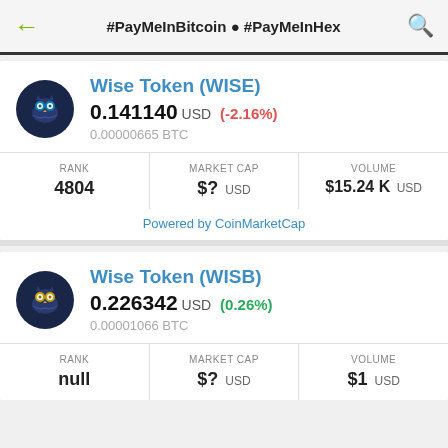#PayMeInBitcoin ● #PayMeInHex
Wise Token (WISE)
0.141140 USD (-2.16%)
0.00000665 BTC
| RANK | MARKET CAP | VOLUME |
| --- | --- | --- |
| 4804 | $? USD | $15.24 K USD |
Powered by CoinMarketCap
Wise Token (WISB)
0.226342 USD (0.26%)
0.00001066 BTC
| RANK | MARKET CAP | VOLUME |
| --- | --- | --- |
| null | $? USD | $1 USD |